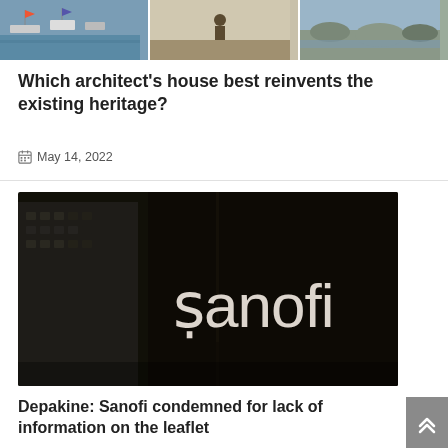[Figure (photo): Three photos side by side: marina with boats, person on a terrace/dock, rocky waterside]
Which architect's house best reinvents the existing heritage?
May 14, 2022
[Figure (photo): Close-up photo of Sanofi logo on a dark glass door/panel with a building in the background]
Depakine: Sanofi condemned for lack of information on the leaflet